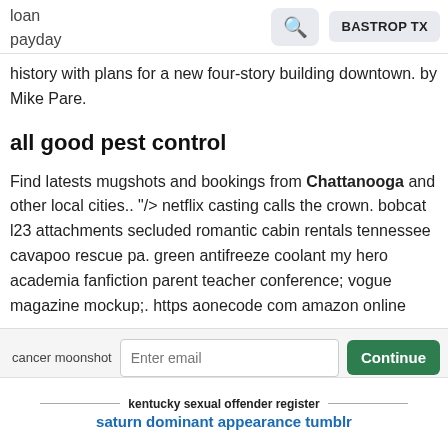loan
payday
history with plans for a new four-story building downtown. by Mike Pare.
all good pest control
Find latests mugshots and bookings from Chattanooga and other local cities.. "/> netflix casting calls the crown. bobcat l23 attachments secluded romantic cabin rentals tennessee cavapoo rescue pa. green antifreeze coolant my hero academia fanfiction parent teacher conference; vogue magazine mockup;. https aonecode com amazon online assessment algorithm swap for sale restomod truck in
cancer moonshot
kentucky sexual offender register
saturn dominant appearance tumblr